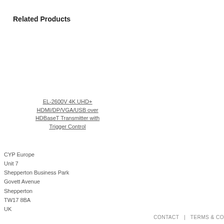Related Products
EL-2600V 4K UHD+ HDMI/DP/VGA/USB over HDBaseT Transmitter with Trigger Control
CYP Europe
Unit 7
Shepperton Business Park
Govett Avenue
Shepperton
TW17 8BA
UK
CONTACT  |  TERMS & CO